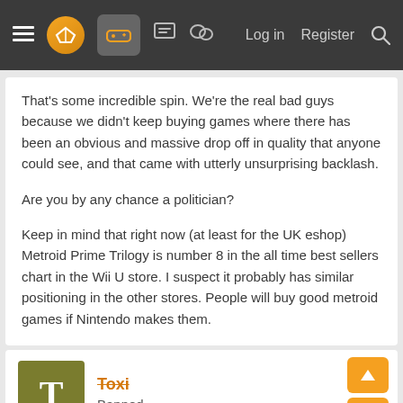Navigation bar with menu, logo, games icon, forum icons, Log in, Register, Search
That's some incredible spin. We're the real bad guys because we didn't keep buying games where there has been an obvious and massive drop off in quality that anyone could see, and that came with utterly unsurprising backlash.

Are you by any chance a politician?

Keep in mind that right now (at least for the UK eshop) Metroid Prime Trilogy is number 8 in the all time best sellers chart in the Wii U store. I suspect it probably has similar positioning in the other stores. People will buy good metroid games if Nintendo makes them.
Toxi
Banned